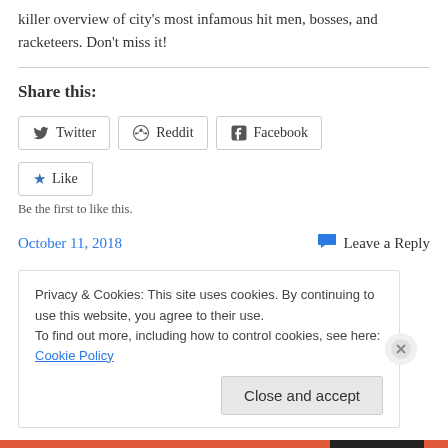killer overview of city's most infamous hit men, bosses, and racketeers. Don't miss it!
Share this:
Twitter  Reddit  Facebook
Like
Be the first to like this.
October 11, 2018
Leave a Reply
Privacy & Cookies: This site uses cookies. By continuing to use this website, you agree to their use.
To find out more, including how to control cookies, see here: Cookie Policy
Close and accept